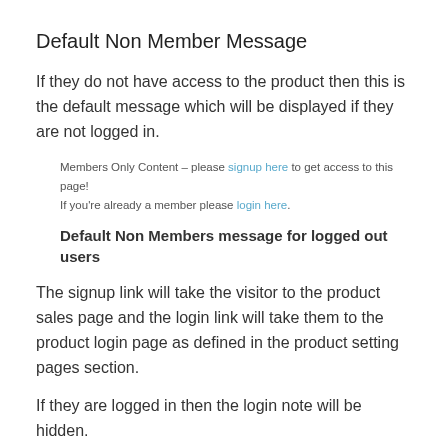Default Non Member Message
If they do not have access to the product then this is the default message which will be displayed if they are not logged in.
Members Only Content – please signup here to get access to this page! If you're already a member please login here.
Default Non Members message for logged out users
The signup link will take the visitor to the product sales page and the login link will take them to the product login page as defined in the product setting pages section.
If they are logged in then the login note will be hidden.